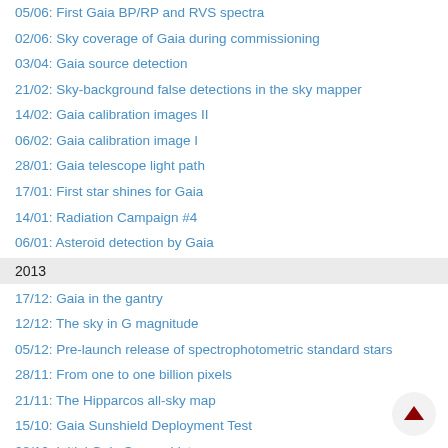05/06: First Gaia BP/RP and RVS spectra
02/06: Sky coverage of Gaia during commissioning
03/04: Gaia source detection
21/02: Sky-background false detections in the sky mapper
14/02: Gaia calibration images II
06/02: Gaia calibration image I
28/01: Gaia telescope light path
17/01: First star shines for Gaia
14/01: Radiation Campaign #4
06/01: Asteroid detection by Gaia
2013
17/12: Gaia in the gantry
12/12: The sky in G magnitude
05/12: Pre-launch release of spectrophotometric standard stars
28/11: From one to one billion pixels
21/11: The Hipparcos all-sky map
15/10: Gaia Sunshield Deployment Test
08/10: Initial Gaia Source List
17/09: CU1 Operations Workshop
11/09: Apsis
26/08: Gaia arrival in French Guiana
20/08: Gaia cartoons
11/07: Model Soyuz Fregat video
01/07: Acoustic Testing
21/06: SOVT
03/06: CU4 meeting #15